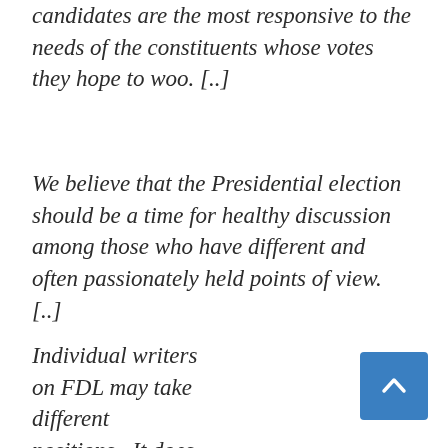candidates are the most responsive to the needs of the constituents whose votes they hope to woo. [..]
We believe that the Presidential election should be a time for healthy discussion among those who have different and often passionately held points of view. [..]
Individual writers on FDL may take different positions.  It does not mean that as a blog we endorse any of them.  Our goal is to make a fair